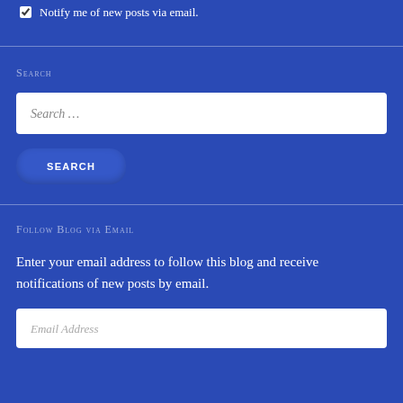Notify me of new posts via email.
Search
Search …
SEARCH
Follow Blog via Email
Enter your email address to follow this blog and receive notifications of new posts by email.
Email Address